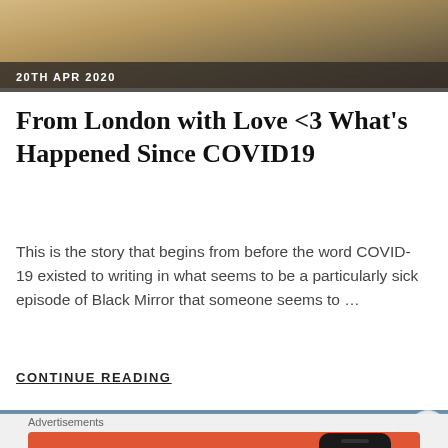[Figure (photo): Top strip showing feet in sandals/flip-flops on sandy/wooden surface, partial view]
20TH APR 2020
From London with Love <3 What's Happened Since COVID19
This is the story that begins from before the word COVID-19 existed to writing in what seems to be a particularly sick episode of Black Mirror that someone seems to ...
CONTINUE READING
[Figure (photo): Next article strip with sky/clouds background]
[Figure (illustration): DuckDuckGo advertisement banner: orange background with text 'Search, browse, and email with more privacy. All in One Free App' and phone mockup showing DuckDuckGo logo]